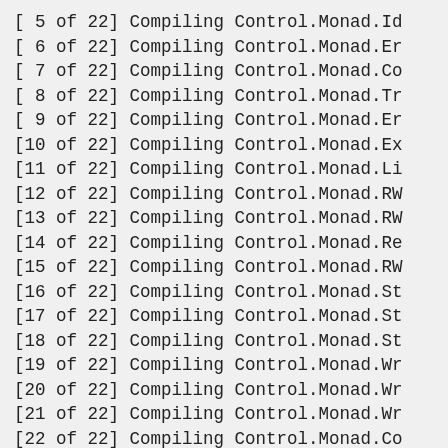[ 5 of 22] Compiling Control.Monad.Id
[ 6 of 22] Compiling Control.Monad.Er
[ 7 of 22] Compiling Control.Monad.Co
[ 8 of 22] Compiling Control.Monad.Tr
[ 9 of 22] Compiling Control.Monad.Er
[10 of 22] Compiling Control.Monad.Ex
[11 of 22] Compiling Control.Monad.Li
[12 of 22] Compiling Control.Monad.RW
[13 of 22] Compiling Control.Monad.RW
[14 of 22] Compiling Control.Monad.Re
[15 of 22] Compiling Control.Monad.RW
[16 of 22] Compiling Control.Monad.St
[17 of 22] Compiling Control.Monad.St
[18 of 22] Compiling Control.Monad.St
[19 of 22] Compiling Control.Monad.Wr
[20 of 22] Compiling Control.Monad.Wr
[21 of 22] Compiling Control.Monad.Wr
[22 of 22] Compiling Control.Monad.Co
Installing executable with GHC...